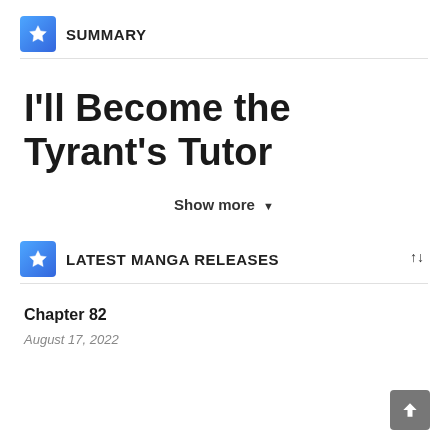SUMMARY
I'll Become the Tyrant's Tutor
Show more ▼
LATEST MANGA RELEASES
Chapter 82
August 17, 2022